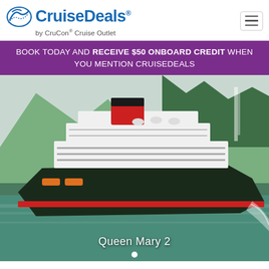[Figure (logo): CruiseDeals by CruCon Cruise Outlet logo with ship wave icon in blue]
BOOK TODAY AND RECEIVE $50 ONBOARD CREDIT WHEN YOU MENTION CRUISEDEALS
[Figure (photo): Large cruise ship Queen Mary 2 sailing through a Norwegian fjord with green mountains and waterfall in background]
Queen Mary 2